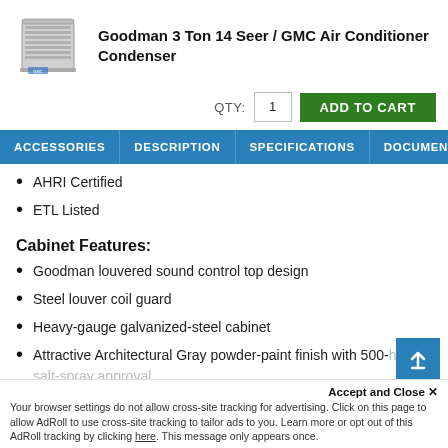[Figure (photo): Air conditioner condenser unit product image]
Goodman 3 Ton 14 Seer / GMC Air Conditioner Condenser
QTY: 1  ADD TO CART
ACCESSORIES  DESCRIPTION  SPECIFICATIONS  DOCUMENTS  P
AHRI Certified
ETL Listed
Cabinet Features:
Goodman louvered sound control top design
Steel louver coil guard
Heavy-gauge galvanized-steel cabinet
Attractive Architectural Gray powder-paint finish with 500-hour salt-spray approval
Accept and Close ✕
Your browser settings do not allow cross-site tracking for advertising. Click on this page to allow AdRoll to use cross-site tracking to tailor ads to you. Learn more or opt out of this AdRoll tracking by clicking here. This message only appears once.